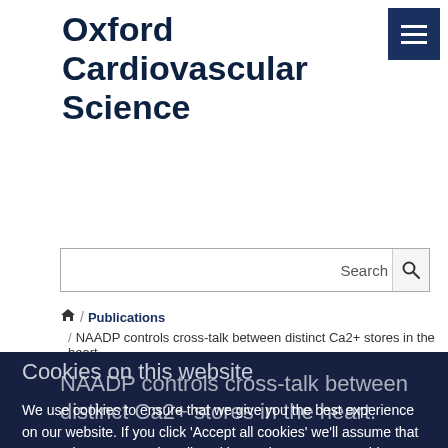Oxford Cardiovascular Science
Search
🏠 / Publications
/ NAADP controls cross-talk between distinct Ca2+ stores in the heart.
NAADP controls cross-talk between distinct Ca2+ stores in the heart.
Cookies on this website
We use cookies to ensure that we give you the best experience on our website. If you click 'Accept all cookies' we'll assume that you are happy to receive all cookies and you won't see this message again. If you click 'Reject all